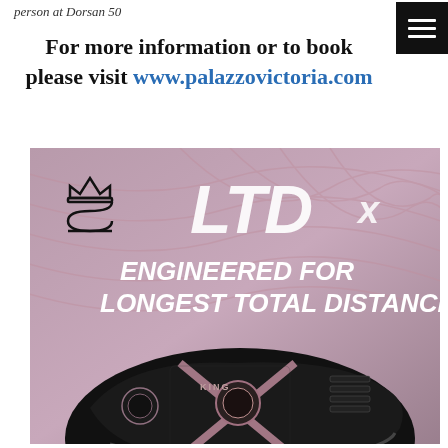person at Dorsan 50
For more information or to book please visit www.palazzovictoria.com
[Figure (photo): Cobra Golf KING LTD X driver advertisement. Pink/mauve background with swirling lines. Logo with crown icon at top left. Large stylized 'LTDx' text with italic lettering. Bold white italic text reading 'ENGINEERED FOR LONGEST TOTAL DISTANCE'. Bottom portion shows the black and rose-gold Cobra KING LTDx driver club head.]